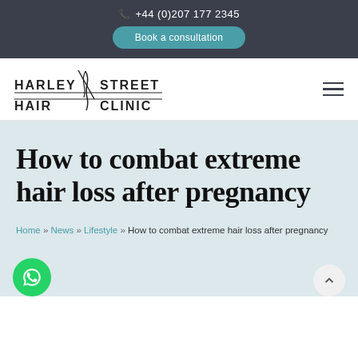+44 (0)207 177 2345
Book a consultation
[Figure (logo): Harley Street Hair Clinic logo with stylized hair follicle graphic]
How to combat extreme hair loss after pregnancy
Home » News » Lifestyle » How to combat extreme hair loss after pregnancy